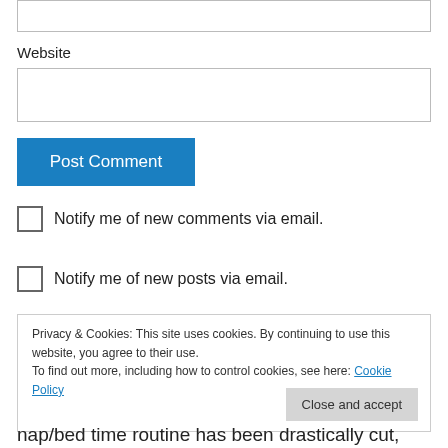Website
Post Comment
Notify me of new comments via email.
Notify me of new posts via email.
Privacy & Cookies: This site uses cookies. By continuing to use this website, you agree to their use. To find out more, including how to control cookies, see here: Cookie Policy
Close and accept
nap/bed time routine has been drastically cut,